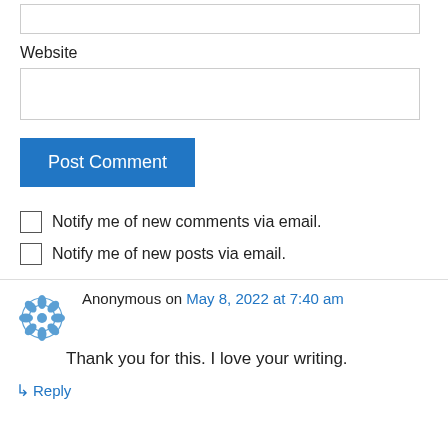Website
[input box]
Post Comment
Notify me of new comments via email.
Notify me of new posts via email.
Anonymous on May 8, 2022 at 7:40 am
Thank you for this. I love your writing.
Reply